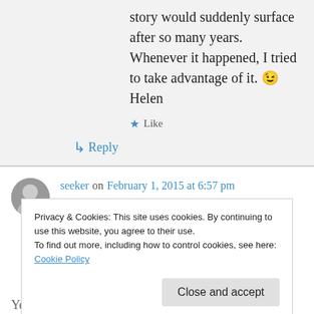story would suddenly surface after so many years. Whenever it happened, I tried to take advantage of it. 😉 Helen
★ Like
↳ Reply
seeker on February 1, 2015 at 6:57 pm
So sweet....the things we do for our children.
★ Liked by 1 person
Privacy & Cookies: This site uses cookies. By continuing to use this website, you agree to their use.
To find out more, including how to control cookies, see here: Cookie Policy
Close and accept
Yes, and always wonder if we have done